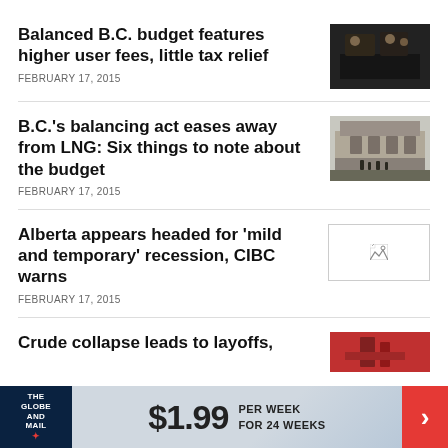Balanced B.C. budget features higher user fees, little tax relief
FEBRUARY 17, 2015
[Figure (photo): Photo of people at what appears to be a legislative or government event, dark indoor setting]
B.C.'s balancing act eases away from LNG: Six things to note about the budget
FEBRUARY 17, 2015
[Figure (photo): Black and white photo of a government building exterior with people standing outside]
Alberta appears headed for 'mild and temporary' recession, CIBC warns
FEBRUARY 17, 2015
[Figure (photo): Broken/missing image placeholder]
Crude collapse leads to layoffs,
[Figure (photo): Partial photo visible at bottom, industrial scene]
THE GLOBE AND MAIL $1.99 PER WEEK FOR 24 WEEKS